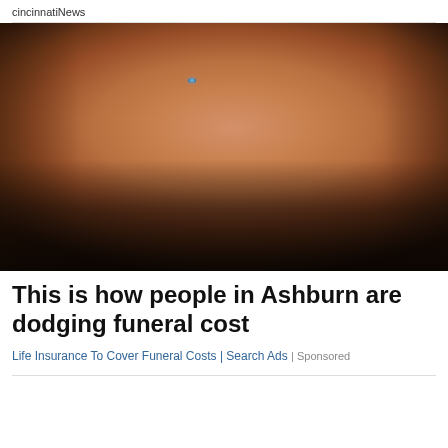cincinnatiNews
[Figure (photo): Close-up portrait of an elderly person with deeply wrinkled skin, white/grey hair, blue eyes, wearing a dark coat, photographed against a dark background.]
This is how people in Ashburn are dodging funeral cost
Life Insurance To Cover Funeral Costs | Search Ads | Sponsored